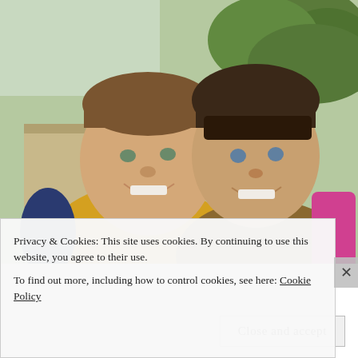[Figure (photo): Two smiling children (a boy in yellow shirt and a girl in plaid shirt with pink backpack) posing together outdoors with green trees in the background, appearing to be on a school day.]
Privacy & Cookies: This site uses cookies. By continuing to use this website, you agree to their use.
To find out more, including how to control cookies, see here: Cookie Policy
Close and accept